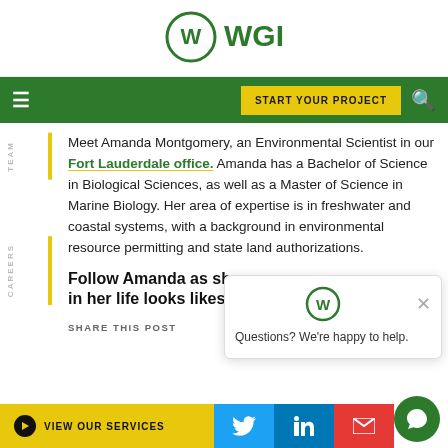[Figure (logo): WGI company logo with stylized W in a circle followed by WGI text in green]
[Figure (screenshot): Green navigation bar with hamburger menu icon on left, yellow START YOUR PROJECT button, and search icon on right]
Meet Amanda Montgomery, an Environmental Scientist in our Fort Lauderdale office. Amanda has a Bachelor of Science in Biological Sciences, as well as a Master of Science in Marine Biology. Her area of expertise is in freshwater and coastal systems, with a background in environmental resource permitting and state land authorizations.
Follow Amanda as sh... in her life looks likes...
[Figure (screenshot): Chat popup overlay with WGI logo and text: Questions? We're happy to help.]
SHARE THIS POST
[Figure (screenshot): Bottom bar with yellow VIEW OUR SERVICES button, Twitter, LinkedIn, and email share icons, and green chat bubble button]